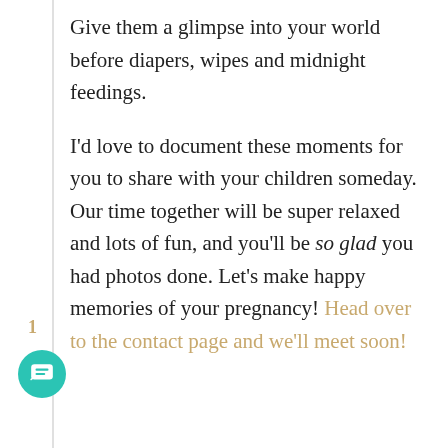Give them a glimpse into your world before diapers, wipes and midnight feedings.

I'd love to document these moments for you to share with your children someday. Our time together will be super relaxed and lots of fun, and you'll be so glad you had photos done. Let's make happy memories of your pregnancy! Head over to the contact page and we'll meet soon!